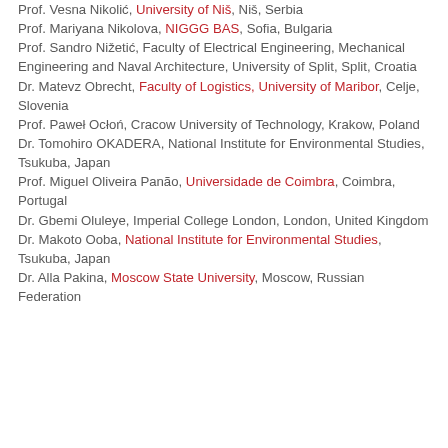Prof. Vesna Nikolić, University of Niš, Niš, Serbia
Prof. Mariyana Nikolova, NIGGG BAS, Sofia, Bulgaria
Prof. Sandro Nižetić, Faculty of Electrical Engineering, Mechanical Engineering and Naval Architecture, University of Split, Split, Croatia
Dr. Matevz Obrecht, Faculty of Logistics, University of Maribor, Celje, Slovenia
Prof. Paweł Ocłoń, Cracow University of Technology, Krakow, Poland
Dr. Tomohiro OKADERA, National Institute for Environmental Studies, Tsukuba, Japan
Prof. Miguel Oliveira Panão, Universidade de Coimbra, Coimbra, Portugal
Dr. Gbemi Oluleye, Imperial College London, London, United Kingdom
Dr. Makoto Ooba, National Institute for Environmental Studies, Tsukuba, Japan
Dr. Alla Pakina, Moscow State University, Moscow, Russian Federation